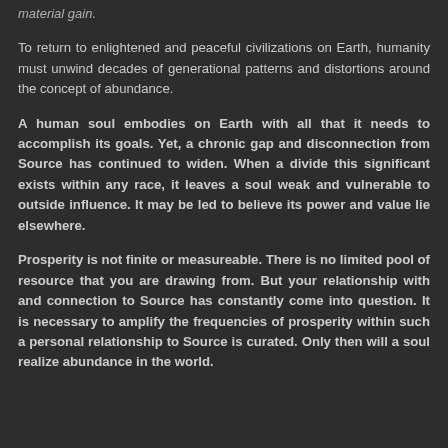material gain.
To return to enlightened and peaceful civilizations on Earth, humanity must unwind decades of generational patterns and distortions around the concept of abundance.
A human soul embodies on Earth with all that it needs to accomplish its goals. Yet, a chronic gap and disconnection from Source has continued to widen. When a divide this significant exists within any race, it leaves a soul weak and vulnerable to outside influence. It may be led to believe its power and value lie elsewhere.
Prosperity is not finite or measureable. There is no limited pool of resource that you are drawing from. But your relationship with and connection to Source has constantly come into question. It is necessary to amplify the frequencies of prosperity within such a personal relationship to Source is curated. Only then will a soul realize abundance in the world.